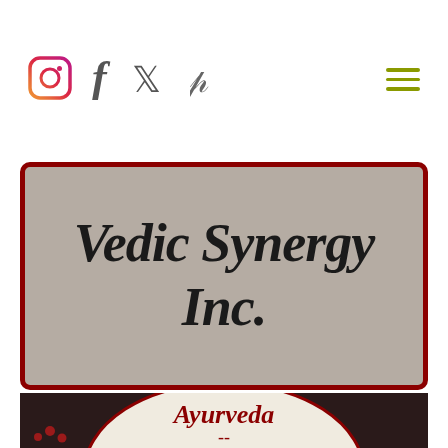Social media navigation bar with Instagram, Facebook, Twitter, Pinterest icons and hamburger menu
Vedic Synergy Inc.
[Figure (illustration): Dark background food/spice photography with red berries/peppercorns and kitchen utensils. Overlaid with a large circular white/cream badge containing text in dark red cursive: 'Ayurveda -- Nutrition, Wellness and Spiritual' on a dark moody background]